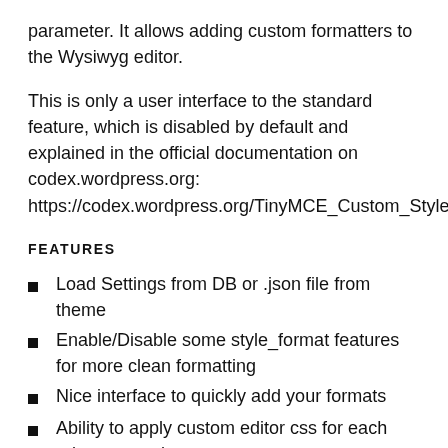parameter. It allows adding custom formatters to the Wysiwyg editor.
This is only a user interface to the standard feature, which is disabled by default and explained in the official documentation on codex.wordpress.org: https://codex.wordpress.org/TinyMCE_Custom_Styles
FEATURES
Load Settings from DB or .json file from theme
Enable/Disable some style_format features for more clean formatting
Nice interface to quickly add your formats
Ability to apply custom editor css for each rule separately
You can group your styles for more clear usage